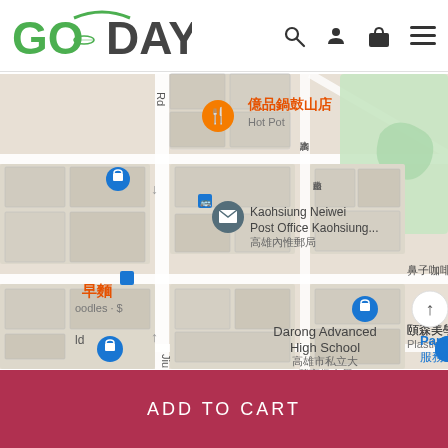[Figure (logo): GoodDay logo — green 'GO' with arc and fish/saucer icon, dark 'ODAY']
[Figure (map): Google Maps screenshot showing Kaohsiung area with landmarks: 億品鍋鼓山店 (Hot Pot), Kaohsiung Neiwei Post Office Kaohsiung... 高雄內惟郵局, 冬鄉小廚 Chinese $$, Darong Advanced High School 高雄市私立大榮高級中學, 頤森美學診所 Plastic surgery cli, 美術帝國, 鼻子咖啡餐廳. Various map pins in orange, blue, and grey. Street labels in Chinese and English.]
ADD TO CART